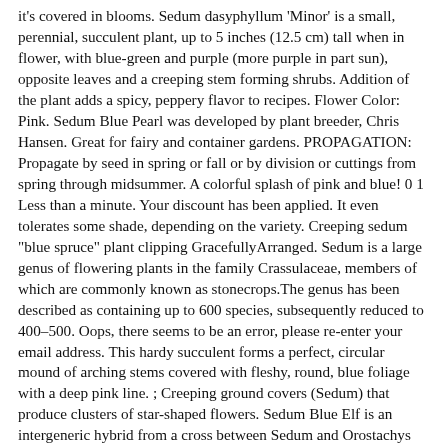it's covered in blooms. Sedum dasyphyllum 'Minor' is a small, perennial, succulent plant, up to 5 inches (12.5 cm) tall when in flower, with blue-green and purple (more purple in part sun), opposite leaves and a creeping stem forming shrubs. Addition of the plant adds a spicy, peppery flavor to recipes. Flower Color: Pink. Sedum Blue Pearl was developed by plant breeder, Chris Hansen. Great for fairy and container gardens. PROPAGATION: Propagate by seed in spring or fall or by division or cuttings from spring through midsummer. A colorful splash of pink and blue! 0 1 Less than a minute. Your discount has been applied. It even tolerates some shade, depending on the variety. Creeping sedum "blue spruce" plant clipping GracefullyArranged. Sedum is a large genus of flowering plants in the family Crassulaceae, members of which are commonly known as stonecrops.The genus has been described as containing up to 600 species, subsequently reduced to 400–500. Oops, there seems to be an error, please re-enter your email address. This hardy succulent forms a perfect, circular mound of arching stems covered with fleshy, round, blue foliage with a deep pink line. ; Creeping ground covers (Sedum) that produce clusters of star-shaped flowers. Sedum Blue Elf is an intergeneric hybrid from a cross between Sedum and Orostachys both in the Stonecrop family. Young stems and leaves are eaten raw while older plant material should be cooked. Blue Pearl Sedum Care Size & Growth. Red Creeping Sedum Bold, Drought-Tolerant Color! This is possibly one of the most popular varieties of sedum. Our Creeping Blue Sedum is popular for forming a lush